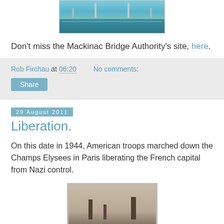[Figure (photo): Partial view of Mackinac Bridge over water, cropped at top of page]
Don't miss the Mackinac Bridge Authority's site, here.
Rob Firchau at 06:20    No comments:
Share
29 August 2011
Liberation.
On this date in 1944, American troops marched down the Champs Elysees in Paris liberating the French capital from Nazi control.
[Figure (photo): Black and white historical photograph showing a street scene in Paris, 1944]